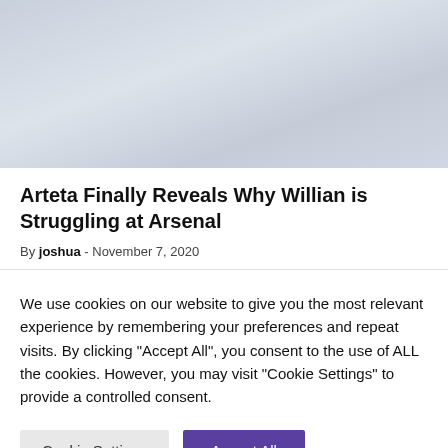[Figure (photo): Soccer players in light blue/white uniforms, partially visible, faded/washed out image]
Arteta Finally Reveals Why Willian is Struggling at Arsenal
By joshua - November 7, 2020
We use cookies on our website to give you the most relevant experience by remembering your preferences and repeat visits. By clicking "Accept All", you consent to the use of ALL the cookies. However, you may visit "Cookie Settings" to provide a controlled consent.